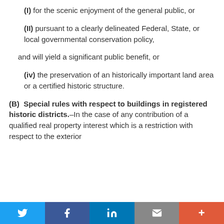(I)  for the scenic enjoyment of the general public, or
(II)  pursuant to a clearly delineated Federal, State, or local governmental conservation policy,
and will yield a significant public benefit, or
(iv)  the preservation of an historically important land area or a certified historic structure.
(B)  Special rules with respect to buildings in registered historic districts.–In the case of any contribution of a qualified real property interest which is a restriction with respect to the exterior
Social share buttons: Twitter, Facebook, LinkedIn, Email, More